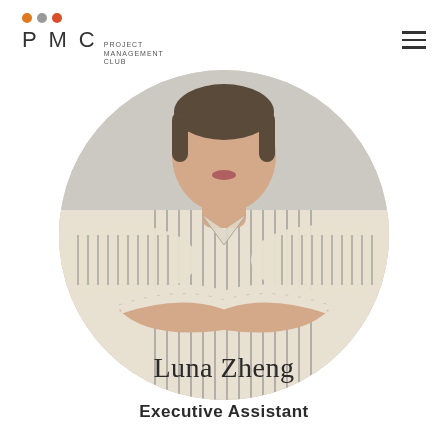PMC Project Management Club
[Figure (photo): Circular cropped profile photo of Luna Zheng, a young woman with her hair up, wearing a beige/tan striped button-up shirt with arms crossed, posed against a light gray background.]
Luna Zheng
Executive Assistant